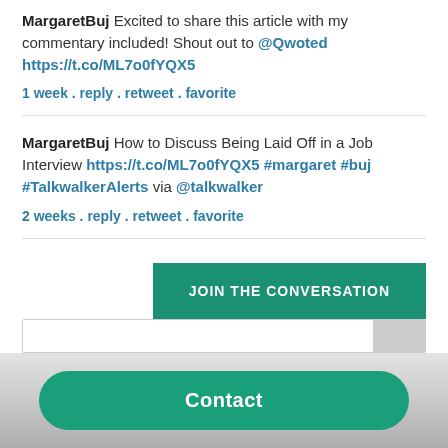MargaretBuj Excited to share this article with my commentary included! Shout out to @Qwoted https://t.co/ML7o0fYQX5
1 week . reply . retweet . favorite
MargaretBuj How to Discuss Being Laid Off in a Job Interview https://t.co/ML7o0fYQX5 #margaret #buj #TalkwalkerAlerts via @talkwalker
2 weeks . reply . retweet . favorite
JOIN THE CONVERSATION
Contact